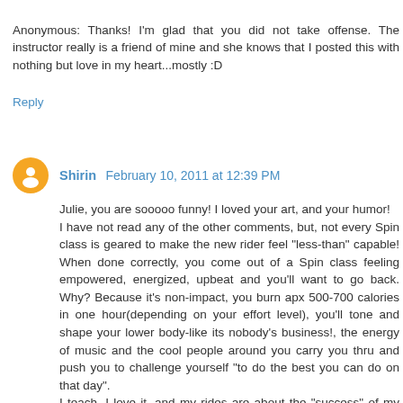Anonymous: Thanks! I'm glad that you did not take offense. The instructor really is a friend of mine and she knows that I posted this with nothing but love in my heart...mostly :D
Reply
Shirin  February 10, 2011 at 12:39 PM
Julie, you are sooooo funny! I loved your art, and your humor!
I have not read any of the other comments, but, not every Spin class is geared to make the new rider feel "less-than" capable! When done correctly, you come out of a Spin class feeling empowered, energized, upbeat and you'll want to go back. Why? Because it's non-impact, you burn apx 500-700 calories in one hour(depending on your effort level), you'll tone and shape your lower body-like its nobody's business!, the energy of music and the cool people around you carry you thru and push you to challenge yourself "to do the best you can do on that day".
I teach, I love it, and my rides are about the "success" of my riders not their failure. If my new rider feels as bad as